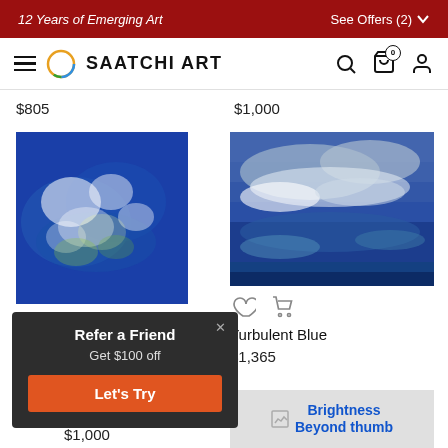12 Years of Emerging Art | See Offers (2)
[Figure (screenshot): Saatchi Art navigation bar with hamburger menu, circular logo, SAATCHI ART wordmark, search icon, cart icon with 0, and user icon]
$805
$1,000
[Figure (photo): Painting with blue background and white/green cloud-like abstract forms]
[Figure (photo): Turbulent Blue painting showing blue ocean waves with white and grey clouds]
[Figure (infographic): Heart and cart icons for save/add to cart actions]
Turbulent Blue
$1,365
[Figure (photo): Brightness Beyond thumb image placeholder with blue link text]
Refer a Friend
Get $100 off
Let's Try
$1,000